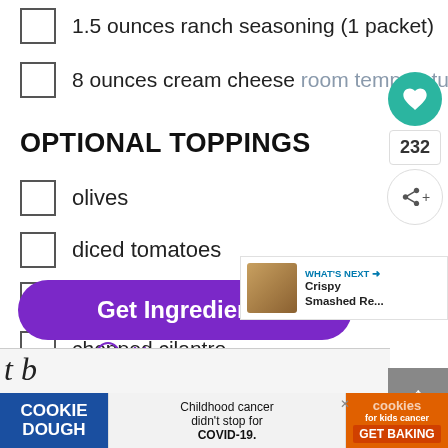1.5 ounces ranch seasoning (1 packet)
8 ounces cream cheese room temperature
OPTIONAL TOPPINGS
olives
diced tomatoes
diced avocados
chopped cilantro
corn chips
sour cream
Get Ingredients
Powered by chicory
[Figure (screenshot): Advertisement banner - COOKIE DOUGH / Childhood cancer didn't stop for COVID-19. / cookies for kids cancer GET BAKING]
[Figure (screenshot): What's next panel showing Crispy Smashed Re... with food image]
[Figure (screenshot): Heart/favorite button (teal circle with heart icon) with count 232 and share button]